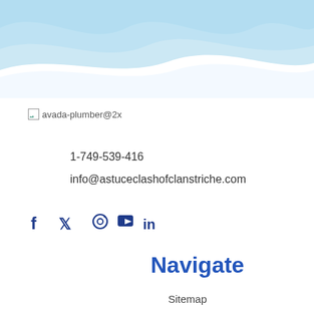[Figure (illustration): Wave decoration background in light blue tones at the top of the page]
[Figure (logo): Broken image placeholder with text 'avada-plumber@2x']
1-749-539-416
info@astuceclashofclanstriche.com
[Figure (illustration): Social media icons: Facebook, Twitter, Instagram, YouTube, LinkedIn in dark blue]
Navigate
Sitemap
About Us